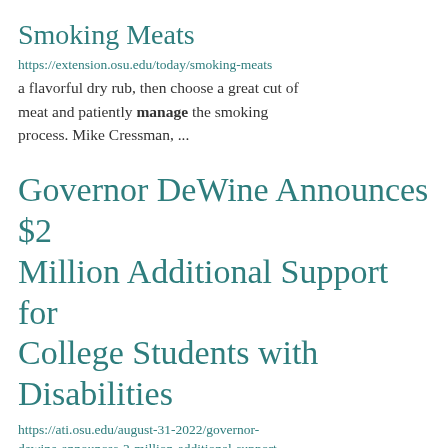Smoking Meats
https://extension.osu.edu/today/smoking-meats
a flavorful dry rub, then choose a great cut of meat and patiently manage the smoking process. Mike Cressman, ...
Governor DeWine Announces $2 Million Additional Support for College Students with Disabilities
https://ati.osu.edu/august-31-2022/governor-dewine-announces-2-million-additional-support-for-college-students-with
College 2 Careers Counselor, Cyndi Mignone (Cyndi.mignone@ood.ohio.gov) or Ruth Mente Manager Disabilit...